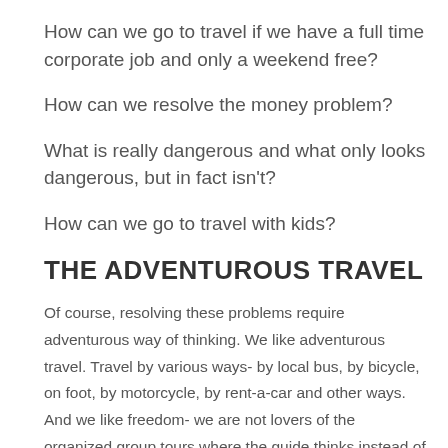How can we go to travel if we have a full time corporate job and only a weekend free?
How can we resolve the money problem?
What is really dangerous and what only looks dangerous, but in fact isn't?
How can we go to travel with kids?
THE ADVENTUROUS TRAVEL
Of course, resolving these problems require adventurous way of thinking. We like adventurous travel. Travel by various ways- by local bus, by bicycle, on foot, by motorcycle, by rent-a-car and other ways. And we like freedom- we are not lovers of the organized group tours where the guide thinks instead of you, and you only follow him, without even know where are you going. So